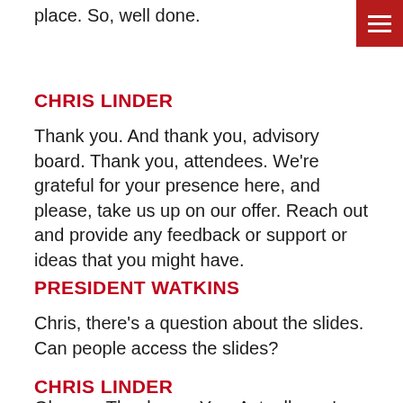place. So, well done.
CHRIS LINDER
Thank you. And thank you, advisory board. Thank you, attendees. We're grateful for your presence here, and please, take us up on our offer. Reach out and provide any feedback or support or ideas that you might have.
PRESIDENT WATKINS
Chris, there's a question about the slides. Can people access the slides?
CHRIS LINDER
Oh, yes. Thank you. Yes. Actually, we've been recording